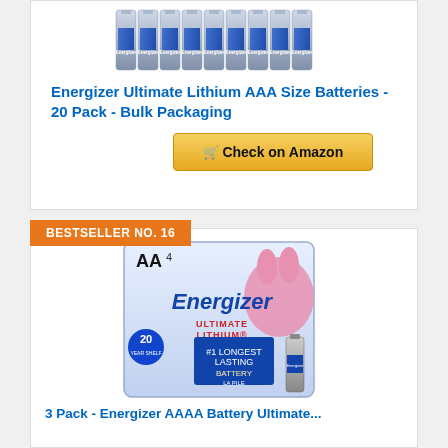[Figure (photo): Energizer Ultimate Lithium AAA batteries in bulk, approximately 20 cells lined up]
Energizer Ultimate Lithium AAA Size Batteries - 20 Pack - Bulk Packaging
Check on Amazon
BESTSELLER NO. 16
[Figure (photo): Energizer Ultimate Lithium AA 4-pack retail packaging with Energizer bunny mascot]
3 Pack - Energizer AAAA Battery Ultimate...